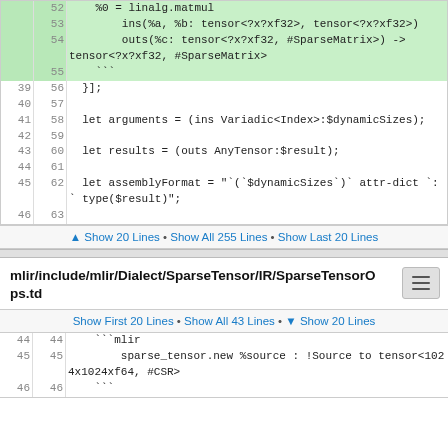[Figure (screenshot): Code diff view showing lines 52-63 with added lines highlighted in green. Lines 52-55 are added (green background) showing linalg.matmul operation definition. Lines 56-63 show normal code including let arguments, let results, and let assemblyFormat.]
▲ Show 20 Lines • Show All 255 Lines • Show Last 20 Lines
mlir/include/mlir/Dialect/SparseTensor/IR/SparseTensorOps.td
Show First 20 Lines • Show All 43 Lines • ▼ Show 20 Lines
[Figure (screenshot): Code view showing lines 44-45 with mlir code: ```mlir and sparse_tensor.new %source : !Source to tensor<1024x1024xf64, #CSR>]